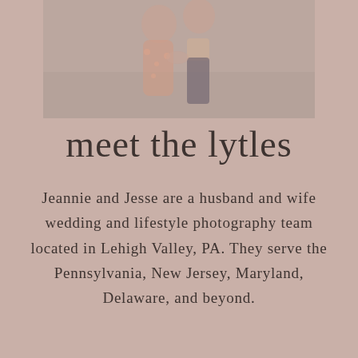[Figure (photo): Cropped photo of a couple outdoors, showing their torsos and hands holding, person on left in a floral dress, person on right in dark pants]
meet the lytles
Jeannie and Jesse are a husband and wife wedding and lifestyle photography team located in Lehigh Valley, PA. They serve the Pennsylvania, New Jersey, Maryland, Delaware, and beyond.